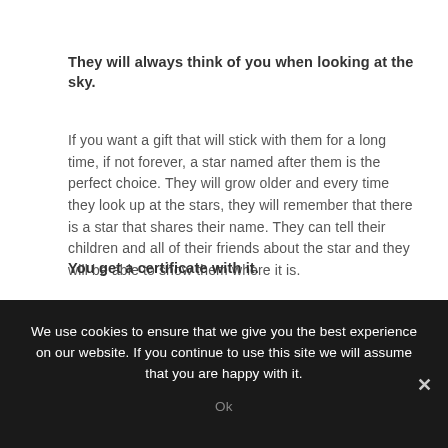They will always think of you when looking at the sky.
If you want a gift that will stick with them for a long time, if not forever, a star named after them is the perfect choice. They will grow older and every time they look up at the stars, they will remember that there is a star that shares their name. They can tell their children and all of their friends about the star and they will be able to show them where it is.
You get a certificate with it.
We use cookies to ensure that we give you the best experience on our website. If you continue to use this site we will assume that you are happy with it.